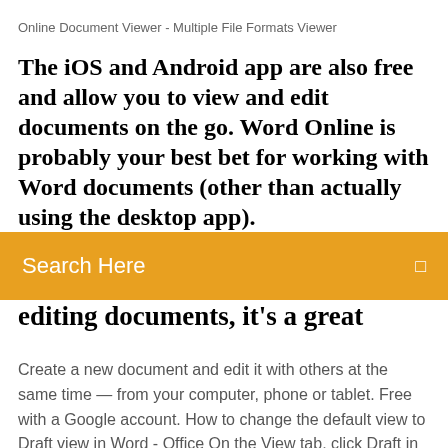Online Document Viewer - Multiple File Formats Viewer
The iOS and Android app are also free and allow you to view and edit documents on the go. Word Online is probably your best bet for working with Word documents (other than actually using the desktop app).
Search Here
editing documents, it's a great
Create a new document and edit it with others at the same time — from your computer, phone or tablet. Free with a Google account. How to change the default view to Draft view in Word - Office On the View tab, click Draft in the Document Views group. To change the default view to Draft view when a Word 2010 or later versions document is opened, follow these steps: Click the File tab, and then click Options. Click Advanced. Under General, click to select the Allow opening a document in Draft view check box. Click OK. Word to PDF - Convert your DOC to PDF for Free